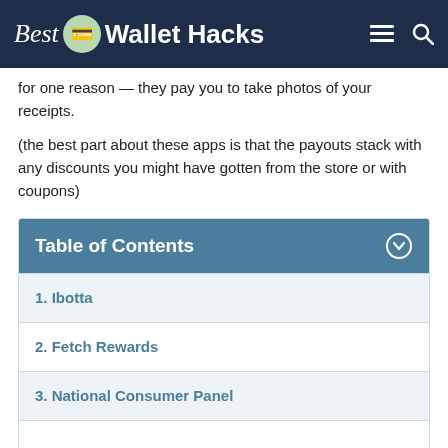Best Wallet Hacks
for one reason — they pay you to take photos of your receipts.
(the best part about these apps is that the payouts stack with any discounts you might have gotten from the store or with coupons)
Table of Contents
1. Ibotta
2. Fetch Rewards
3. National Consumer Panel